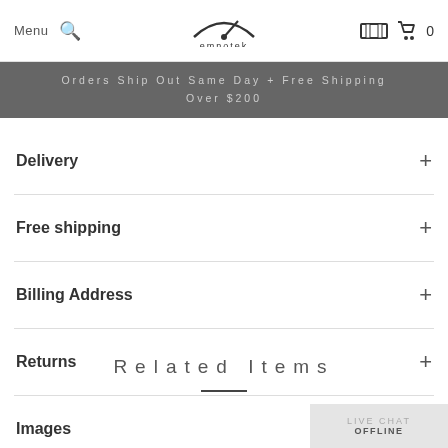Menu | [search icon] | emnotek | [garage icon] | [cart icon] 0
Orders Ship Out Same Day + Free Shipping Over $200
Delivery +
Free shipping +
Billing Address +
Returns +
Images +
Related Items
LIVE CHAT OFFLINE